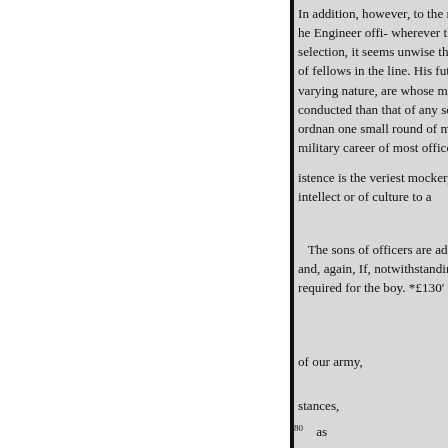In addition, however, to the m the Engineer offi- wherever they selection, it seems unwise that th of fellows in the line. His future varying nature, are whose milita conducted than that of any soldie ordnan one small round of mech military career of most officers b
istence is the veriest mockery im intellect or of culture to a
The sons of officers are admite and, again, If, notwithstanding th required for the boy. *£130' may
of our army,
stances,
80     as